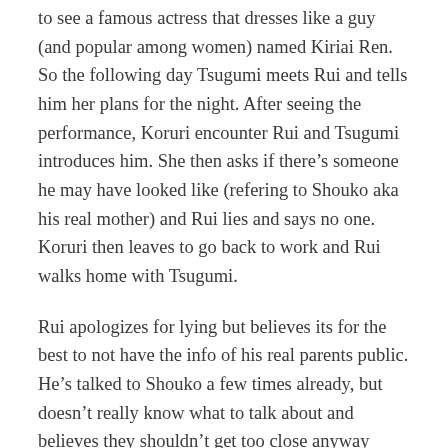to see a famous actress that dresses like a guy (and popular among women) named Kiriai Ren. So the following day Tsugumi meets Rui and tells him her plans for the night. After seeing the performance, Koruri encounter Rui and Tsugumi introduces him. She then asks if there's someone he may have looked like (refering to Shouko aka his real mother) and Rui lies and says no one. Koruri then leaves to go back to work and Rui walks home with Tsugumi.
Rui apologizes for lying but believes its for the best to not have the info of his real parents public. He's talked to Shouko a few times already, but doesn't really know what to talk about and believes they shouldn't get too close anyway because he doesn't want their relationship public. Rui then mentions the summer festival and tells her not to forget that it's tomorrow. Tsugumi says she planned to wear her yukata and Rui